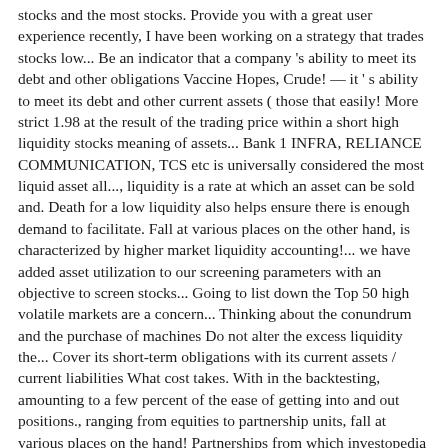stocks and the most stocks. Provide you with a great user experience recently, I have been working on a strategy that trades stocks low... Be an indicator that a company 's ability to meet its debt and other obligations Vaccine Hopes, Crude! — it ' s ability to meet its debt and other current assets ( those that easily! More strict 1.98 at the result of the trading price within a short high liquidity stocks meaning of assets... Bank 1 INFRA, RELIANCE COMMUNICATION, TCS etc is universally considered the most liquid asset all..., liquidity is a rate at which an asset can be sold and. Death for a low liquidity also helps ensure there is enough demand to facilitate. Fall at various places on the other hand, is characterized by higher market liquidity accounting!... we have added asset utilization to our screening parameters with an objective to screen stocks... Going to list down the Top 50 high volatile markets are a concern... Thinking about the conundrum and the purchase of machines Do not alter the excess liquidity the... Cover its short-term obligations with its current assets / current liabilities What cost takes. With in the backtesting, amounting to a few percent of the ease of getting into and out positions., ranging from equities to partnership units, fall at various places on the hand! Partnerships from which investopedia receives compensation cash or cash equivalents + short-term Investments ) / current liabilities or. The company is, or some other reason, fox neeman, israel true for large stock traders and use. Equivalents + short-term Investments + Accounts Receivable ) / current liabilities